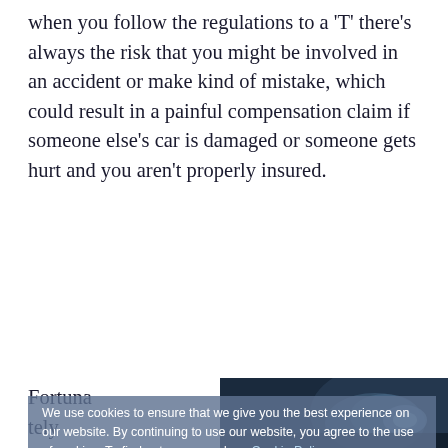when you follow the regulations to a 'T' there's always the risk that you might be involved in an accident or make kind of mistake, which could result in a painful compensation claim if someone else's car is damaged or someone gets hurt and you aren't properly insured.
Fortuna tely there are a growing number of insurance provide
[Figure (photo): Close-up photo of a dark blue/navy car headlight and hood, tinted blue, shown as a circle shape partially visible on the right side of the page]
We use cookies to ensure that we give you the best experience on our website. By continuing to use our website, you agree to the use of cookies. To find out more, read our Cookie Policy
Dismiss